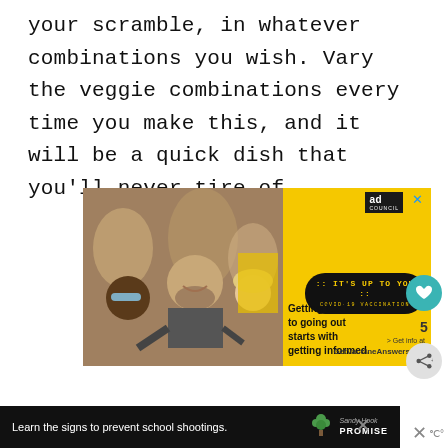your scramble, in whatever combinations you wish. Vary the veggie combinations every time you make this, and it will be a quick dish that you'll never tire of.
[Figure (infographic): Advertisement: Yellow background ad with people laughing at an outdoor event. Text reads 'Getting back to going out starts with getting informed.' with pill badge 'IT'S UP TO YOU :: COVID-19 VACCINATION' and link 'GetVaccineAnswers.org'. Ad Council badge and close button visible.]
[Figure (infographic): Dark bar advertisement at the bottom: 'Learn the signs to prevent school shootings.' Sandy Hook Promise logo on right. Close X button.]